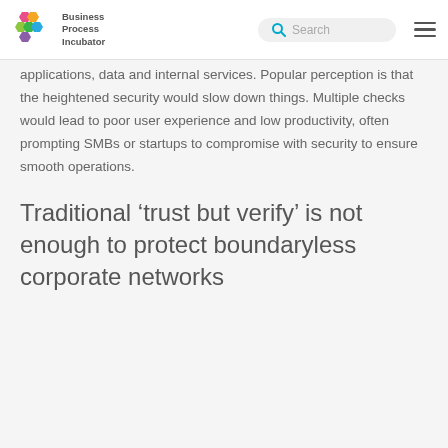Business Process Incubator
applications, data and internal services. Popular perception is that the heightened security would slow down things. Multiple checks would lead to poor user experience and low productivity, often prompting SMBs or startups to compromise with security to ensure smooth operations.
Traditional ‘trust but verify’ is not enough to protect boundaryless corporate networks